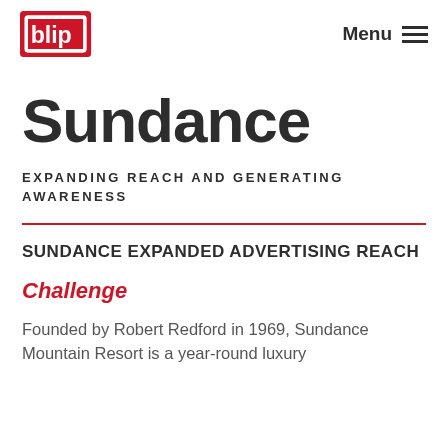blip | Menu
Sundance
EXPANDING REACH AND GENERATING AWARENESS
SUNDANCE EXPANDED ADVERTISING REACH
Challenge
Founded by Robert Redford in 1969, Sundance Mountain Resort is a year-round luxury